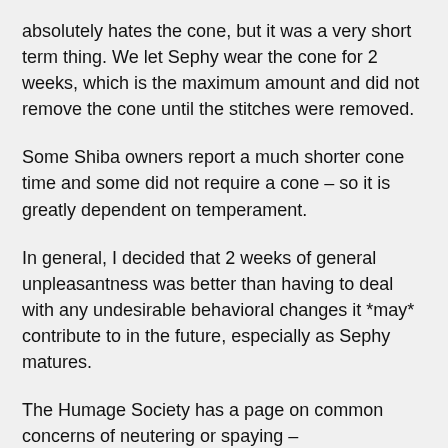absolutely hates the cone, but it was a very short term thing. We let Sephy wear the cone for 2 weeks, which is the maximum amount and did not remove the cone until the stitches were removed.
Some Shiba owners report a much shorter cone time and some did not require a cone – so it is greatly dependent on temperament.
In general, I decided that 2 weeks of general unpleasantness was better than having to deal with any undesirable behavioral changes it *may* contribute to in the future, especially as Sephy matures.
The Humage Society has a page on common concerns of neutering or spaying – http://www.humanesociety.org/issues/pet_overpopulation/